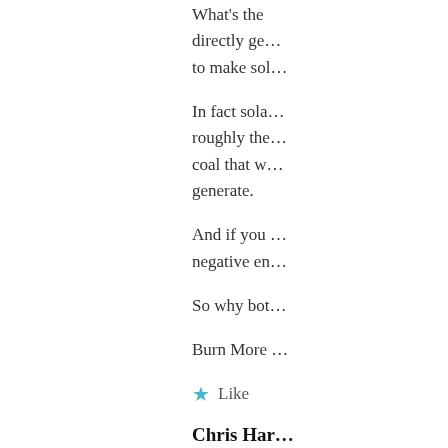What's the ... directly ge... to make sol...
In fact sola... roughly the... coal that w... generate.
And if you ... negative en...
So why bot...
Burn More ...
Like
Chris Har...